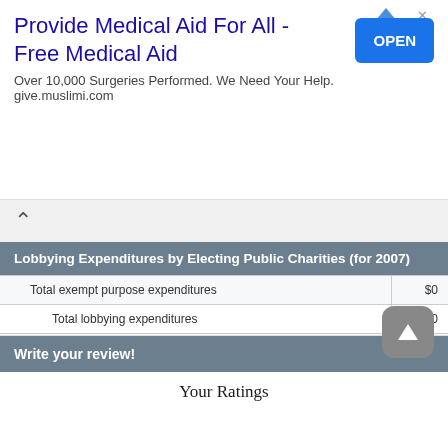[Figure (screenshot): Advertisement banner: 'Provide Medical Aid For All - Free Medical Aid' with OPEN button. Text: Over 10,000 Surgeries Performed. We Need Your Help. give.muslimi.com]
| Lobbying Expenditures by Electing Public Charities (for 2007) |  |
| --- | --- |
| Total exempt purpose expenditures | $0 |
| Total lobbying expenditures | $0 |
| Total lobbying expenditures to influence public opinion (grassroots lobbying) | $0 |
| Total lobbying expenditures to influence a legislative body (direct lobbying) | $0 |
| Other exempt purpose expenditures | $0 |
| Lobbying nontaxable amount | $0 |
| Grassroots nontaxable amount | $0 |
Write your review!
Your Ratings